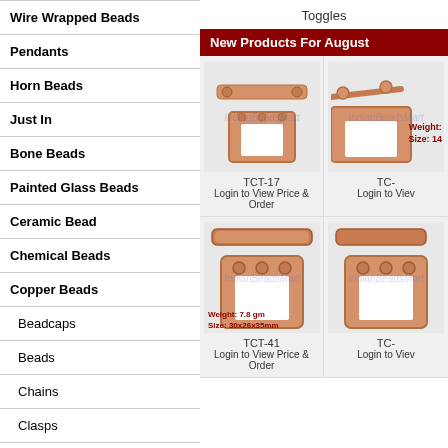Wire Wrapped Beads
Pendants
Horn Beads
Just In
Bone Beads
Painted Glass Beads
Ceramic Bead
Chemical Beads
Copper Beads
Beadcaps
Beads
Chains
Clasps
Cones
Earwires
Headpins
Toggles
New Products For August
[Figure (photo): Toggle clasp product TCT-17, copper colored]
TCT-17
Login to View Price & Order
[Figure (photo): Toggle clasp product partially visible on right side]
TC-
Login to Viev
[Figure (photo): Toggle clasp product TCT-41, square copper colored with bar]
TCT-41
Login to View Price & Order
[Figure (photo): Toggle clasp product partially visible on right side]
TC-
Login to Viev